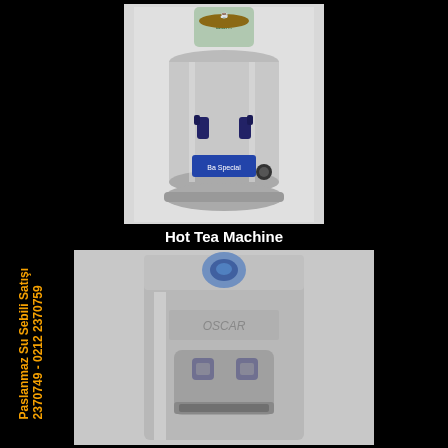[Figure (photo): Stainless steel hot tea machine/urn with two taps and a control knob, with a label on top]
Hot Tea Machine
[Figure (photo): Stainless steel floor-standing water dispenser/cooler with two dispensing buttons and a drip tray]
Paslanmaz Su Sebili Satışı 2370749 - 0212 2370759